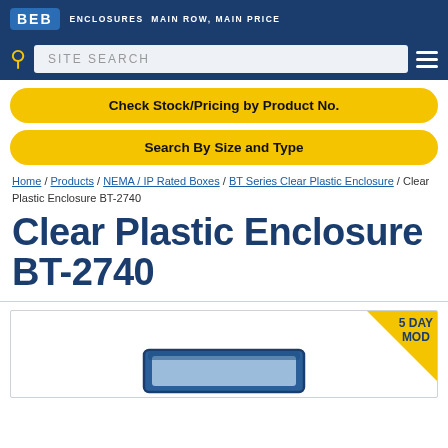BEB ENCLOSURES MAIN ROW, MAIN PRICE
SITE SEARCH
Check Stock/Pricing by Product No.
Search By Size and Type
Home / Products / NEMA / IP Rated Boxes / BT Series Clear Plastic Enclosure / Clear Plastic Enclosure BT-2740
Clear Plastic Enclosure BT-2740
[Figure (photo): Clear plastic enclosure product photo with a 5 DAY MOD badge in the top-right corner, showing a blue-framed transparent enclosure box.]